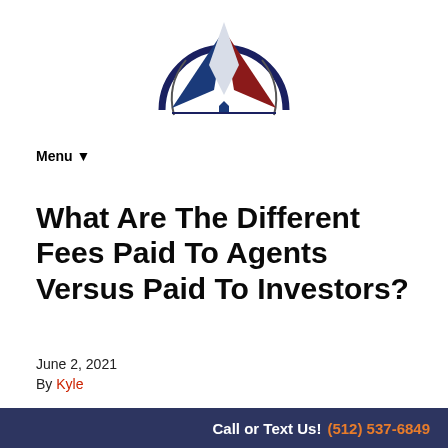[Figure (logo): Star-shaped real estate company logo with blue, white, and red geometric star/diamond shapes forming a patriotic star emblem inside a dark navy blue semicircle arc]
Menu ▼
What Are The Different Fees Paid To Agents Versus Paid To Investors?
June 2, 2021
By Kyle
You want to sell your house and you're looking forward to
Call or Text Us! (512) 537-6849